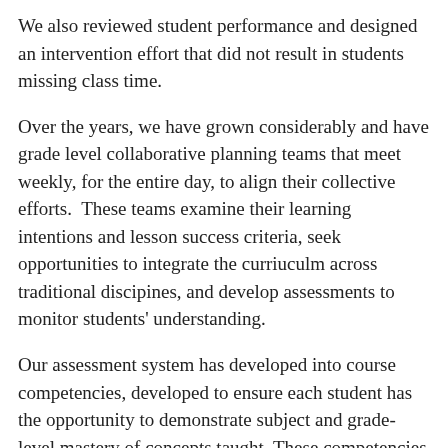We also reviewed student performance and designed an intervention effort that did not result in students missing class time.
Over the years, we have grown considerably and have grade level collaborative planning teams that meet weekly, for the entire day, to align their collective efforts.  These teams examine their learning intentions and lesson success criteria, seek opportunities to integrate the curriuculm across traditional discipines, and develop assessments to monitor students' understanding.
Our assessment system has developed into course competencies, developed to ensure each student has the opportunity to demonstrate subject and grade-level mastery of concepts taught. These competencies are the result of grade level and content-specific collaborative planning and identify